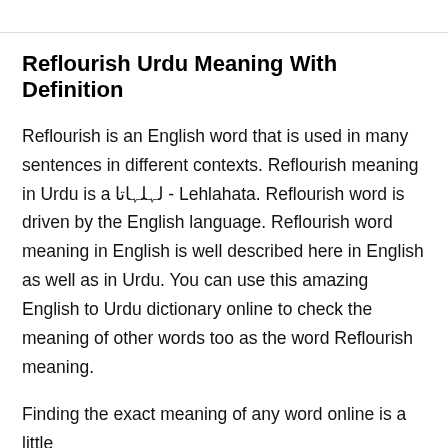Reflourish Urdu Meaning With Definition
Reflourish is an English word that is used in many sentences in different contexts. Reflourish meaning in Urdu is a لہلہاتا - Lehlahata. Reflourish word is driven by the English language. Reflourish word meaning in English is well described here in English as well as in Urdu. You can use this amazing English to Urdu dictionary online to check the meaning of other words too as the word Reflourish meaning.
Finding the exact meaning of any word online is a little